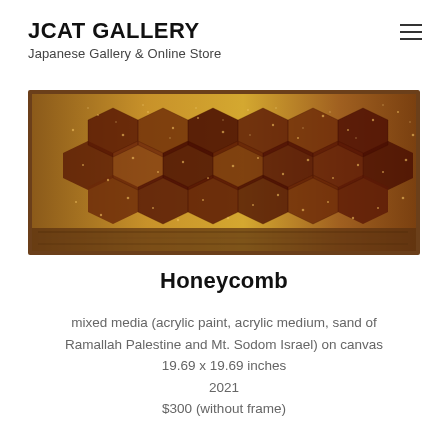JCAT GALLERY
Japanese Gallery & Online Store
[Figure (photo): Horizontal photograph of a honeycomb artwork showing hexagonal cells in warm amber, brown, and dark red tones with glittery texture, mounted on a wooden surface, displayed against a white background.]
Honeycomb
mixed media (acrylic paint, acrylic medium, sand of Ramallah Palestine and Mt. Sodom Israel) on canvas
19.69 x 19.69 inches
2021
$300 (without frame)